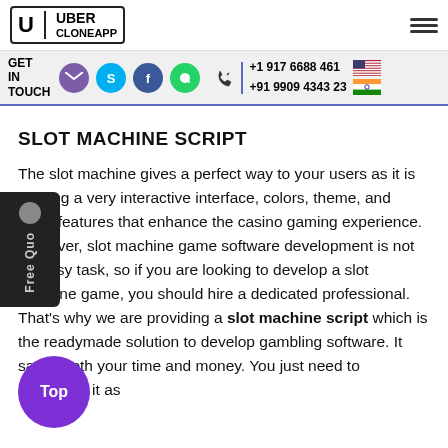[Figure (logo): Uber CloneApp logo — letter U in a box with vertical divider and text UBER / CLONEAPP]
GET IN TOUCH  |  +1 917 6688 461  |  +91 9909 4343 23
SLOT MACHINE SCRIPT
The slot machine gives a perfect way to your users as it is offering a very interactive interface, colors, theme, and other features that enhance the casino gaming experience. However, slot machine game software development is not an easy task, so if you are looking to develop a slot machine game, you should hire a dedicated professional. That’s why we are providing a slot machine script which is the readymade solution to develop gambling software. It saves both your time and money. You just need to customize it as